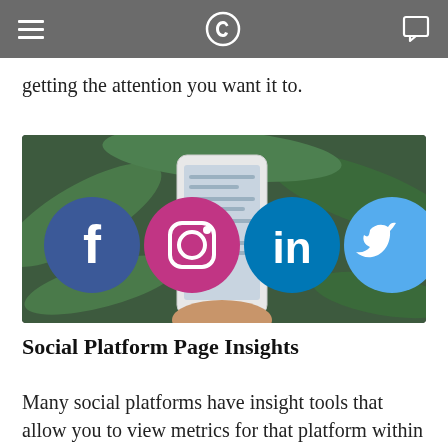[navigation bar with hamburger menu, Clipchamp logo, and chat icon]
getting the attention you want it to.
[Figure (photo): A hand holding a smartphone in front of green tropical leaves. Overlaid on the image are four social media platform icons in circles: Facebook (dark blue), Instagram (pink/magenta), LinkedIn (blue), and Twitter (light blue).]
Social Platform Page Insights
Many social platforms have insight tools that allow you to view metrics for that platform within its site